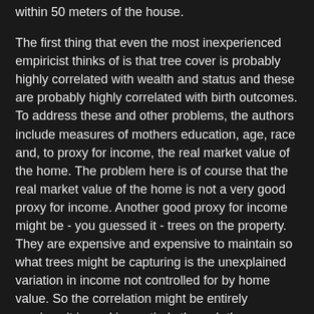within 50 meters of the house.
The first thing that even the most inexperienced empiricist thinks of is that tree cover is probably highly correlated with wealth and status and these are probably highly correlated with birth outcomes. To address these and other problems, the authors include measures of mothers education, age, race and, to proxy for income, the real market value of the home. The problem here is of course that the real market value of the home is not a very good proxy for income. Another good proxy for income might be - you guessed it - trees on the property. They are expensive and expensive to maintain so what trees might be capturing is the unexplained variation in income not controlled for by home value. So the correlation might be entirely spurious it is working entirely through the correlation with income.
But it actually gets worse. The authors, after making hay about the inclusion of these variables actively data mine them away. This is inexcusable. Look at the final regression that was estimated which I display below.  Only the total births, no college education and a single race variable were